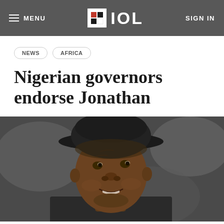MENU | IOL | SIGN IN
NEWS  AFRICA
Nigerian governors endorse Jonathan
[Figure (photo): Close-up photograph of a man wearing a dark hat, smiling slightly, set against a blurred background]